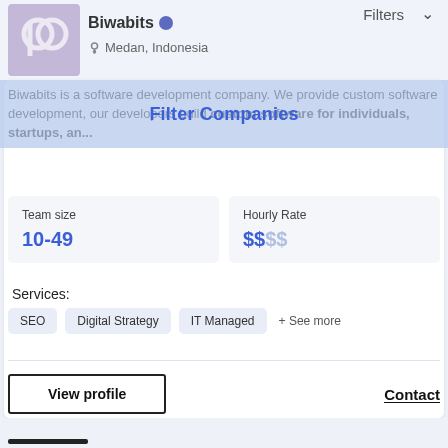Biwabits
Medan, Indonesia
Filter Companies
Biwabits is a software development company. We provide custom software development, our developers build custom software for individuals, startups, an...
| Team size | Hourly Rate |
| --- | --- |
| 10-49 | $$$$ |
Services:
SEO
Digital Strategy
IT Managed
+ See more
View profile
Contact